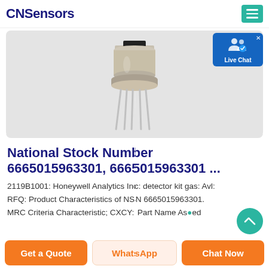CNSensors
[Figure (photo): Electronic sensor component (TO-style metal can package with multiple pins) shown on light gray background]
National Stock Number 6665015963301, 6665015963301 ...
2119B1001: Honeywell Analytics Inc: detector kit gas: Avl: RFQ: Product Characteristics of NSN 6665015963301. MRC Criteria Characteristic; CXCY: Part Name Assigned